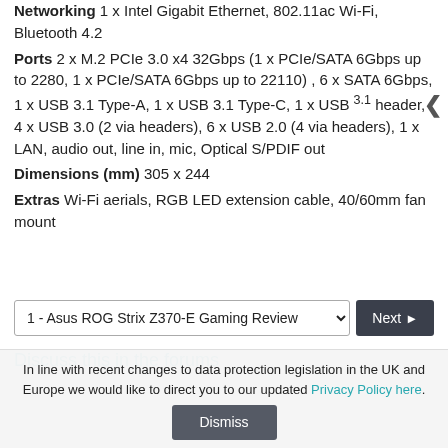Networking 1 x Intel Gigabit Ethernet, 802.11ac Wi-Fi, Bluetooth 4.2
Ports 2 x M.2 PCIe 3.0 x4 32Gbps (1 x PCIe/SATA 6Gbps up to 2280, 1 x PCIe/SATA 6Gbps up to 22110) , 6 x SATA 6Gbps, 1 x USB 3.1 Type-A, 1 x USB 3.1 Type-C, 1 x USB 3.1 header, 4 x USB 3.0 (2 via headers), 6 x USB 2.0 (4 via headers), 1 x LAN, audio out, line in, mic, Optical S/PDIF out
Dimensions (mm) 305 x 244
Extras Wi-Fi aerials, RGB LED extension cable, 40/60mm fan mount
1 - Asus ROG Strix Z370-E Gaming Review
Discuss this in the forums
In line with recent changes to data protection legislation in the UK and Europe we would like to direct you to our updated Privacy Policy here.
Dismiss